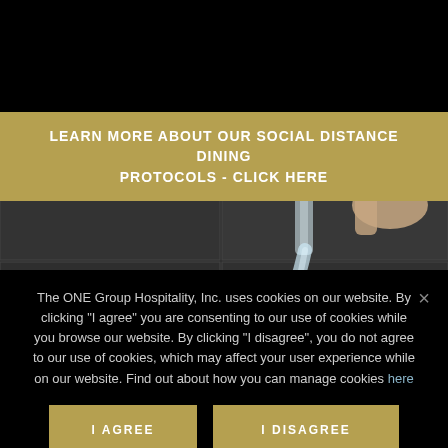[Figure (logo): STK Steakhouse logo — white bold STK letters with 'STEAKHOUSE' in spaced caps to the right, on black background]
[Figure (other): Hamburger/menu icon — two white horizontal lines on black background, top right]
LEARN MORE ABOUT OUR SOCIAL DISTANCE DINING PROTOCOLS - CLICK HERE
[Figure (photo): Dark photo showing a hand pouring clear liquid (water/champagne) from a glass bottle, against a dark slate background]
The ONE Group Hospitality, Inc. uses cookies on our website. By clicking “I agree” you are consenting to our use of cookies while you browse our website. By clicking “I disagree”, you do not agree to our use of cookies, which may affect your user experience while on our website. Find out about how you can manage cookies here
I AGREE
I DISAGREE
COOKIE POLICY